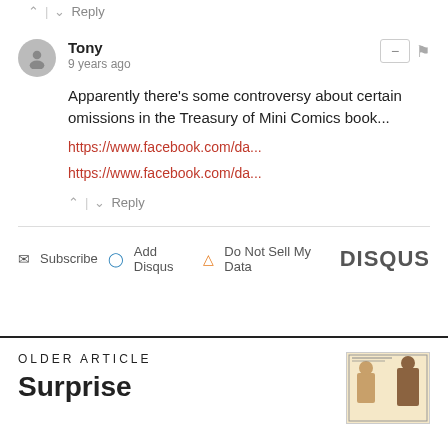pretty novel.
▲ | ▾  Reply
Tony
9 years ago
Apparently there's some controversy about certain omissions in the Treasury of Mini Comics book...
https://www.facebook.com/da...
https://www.facebook.com/da...
▲ | ▾  Reply
✉ Subscribe  ⓓ Add Disqus  ⚠ Do Not Sell My Data   DISQUS
OLDER ARTICLE
Surprise